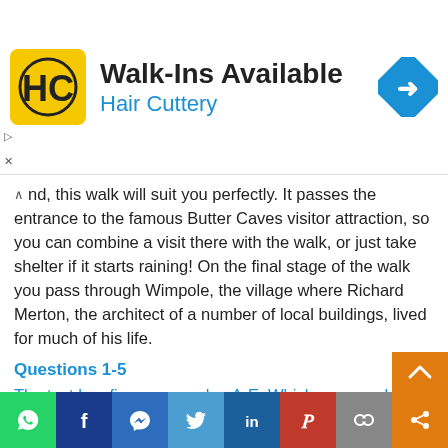[Figure (infographic): Hair Cuttery advertisement banner with logo, 'Walk-Ins Available' text, and a blue diamond turn-right road sign icon]
nd, this walk will suit you perfectly. It passes the entrance to the famous Butter Caves visitor attraction, so you can combine a visit there with the walk, or just take shelter if it starts raining! On the final stage of the walk you pass through Wimpole, the village where Richard Merton, the architect of a number of local buildings, lived for much of his life.
Questions 1-5
The text has five paragraphs, A-E. Which paragraph mentions the following? Write the correct letter, A-E, in boxes 1-5 on your answer sheet. NB You may use any letter more than once.
[Figure (infographic): Social media sharing bar with icons for WhatsApp, Facebook, Messenger, Twitter, LinkedIn, Pinterest, Copy link, and Share]